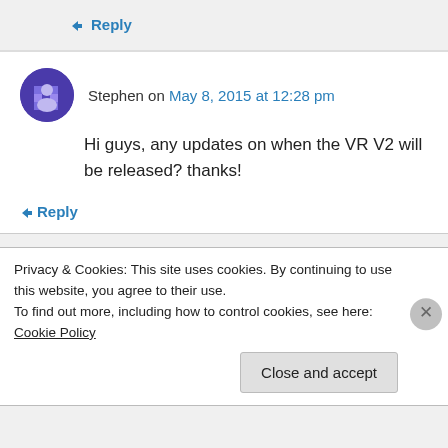↪ Reply
Stephen on May 8, 2015 at 12:28 pm
Hi guys, any updates on when the VR V2 will be released? thanks!
↪ Reply
Evan on May 8, 2015 at 2:36 pm
Privacy & Cookies: This site uses cookies. By continuing to use this website, you agree to their use.
To find out more, including how to control cookies, see here: Cookie Policy
Close and accept